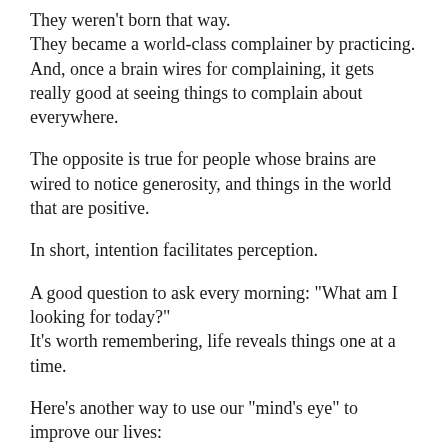They weren't born that way.
They became a world-class complainer by practicing.
And, once a brain wires for complaining, it gets really good at seeing things to complain about everywhere.
The opposite is true for people whose brains are wired to notice generosity, and things in the world that are positive.
In short, intention facilitates perception.
A good question to ask every morning: "What am I looking for today?"
It's worth remembering, life reveals things one at a time.
Here's another way to use our "mind's eye" to improve our lives:
Brain Bulletin #75 - Because that's How You See Yourself